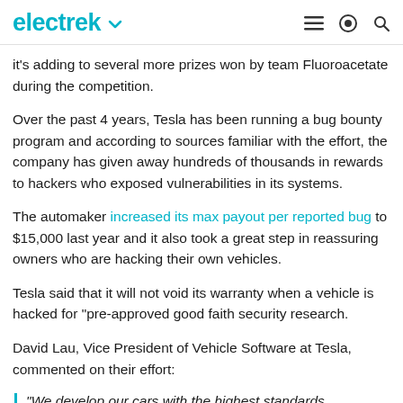electrek
it's adding to several more prizes won by team Fluoroacetate during the competition.
Over the past 4 years, Tesla has been running a bug bounty program and according to sources familiar with the effort, the company has given away hundreds of thousands in rewards to hackers who exposed vulnerabilities in its systems.
The automaker increased its max payout per reported bug to $15,000 last year and it also took a great step in reassuring owners who are hacking their own vehicles.
Tesla said that it will not void its warranty when a vehicle is hacked for "pre-approved good faith security research.
David Lau, Vice President of Vehicle Software at Tesla, commented on their effort:
“We develop our cars with the highest standards...